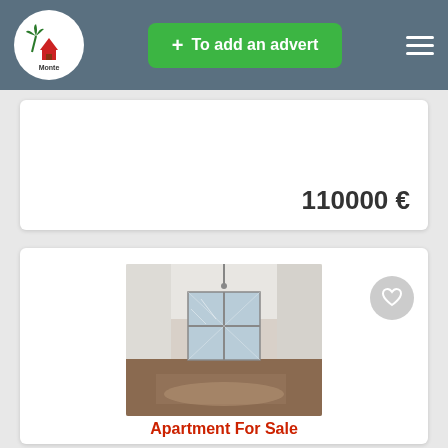Monte Land — To add an advert
110000 €
[Figure (photo): Interior photo of an empty apartment room with parquet flooring and a glass door/window]
Apartment For Sale